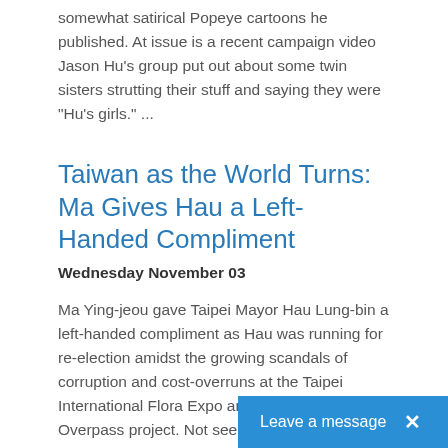somewhat satirical Popeye cartoons he published. At issue is a recent campaign video Jason Hu's group put out about some twin sisters strutting their stuff and saying they were "Hu's girls." ...
Taiwan as the World Turns: Ma Gives Hau a Left-Handed Compliment
Wednesday November 03
Ma Ying-jeou gave Taipei Mayor Hau Lung-bin a left-handed compliment as Hau was running for re-election amidst the growing scandals of corruption and cost-overruns at the Taipei International Flora Expo and the Xinsheng Overpass project. Not seeming to be conscious of the numerous boondoggles and failed projects of his administration, Ma said that "Hau was as good a mayor as he (Ma) was."